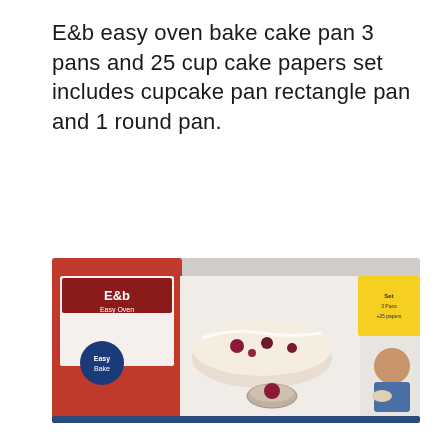E&b easy oven bake cake pan 3 pans and 25 cup cake papers set includes cupcake pan rectangle pan and 1 round pan.
[Figure (photo): Product photo of E&b easy oven bake cake pan set box, showing a blurry/low-resolution image of the product packaging. The box features a red and white label area on the left with the brand name, a blue logo/badge, and on the right side a yellow label area and a woman holding baked goods. The box shows images of baked cakes on the front.]